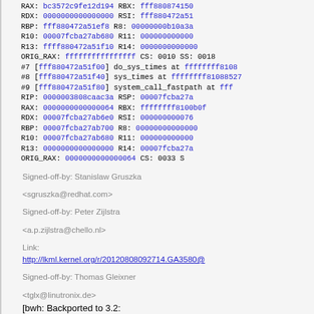RAX: bc3572c9fe12d194  RBX: fff880874150
 RDX: 0000000000000000  RSI: fff880472a51
 RBP: fff880472a51ef8   R8: 00000000b10a3a
 R10: 00007fcba27ab680  R11: 000000000000
 R13: ffff880472a51f10  R14: 0000000000000
 ORIG_RAX: ffffffffffffffff  CS: 0010  SS: 0018
#7 [fff880472a51f00] do_sys_times at ffffffff8108
#8 [fff880472a51f40] sys_times at ffffffff81088527
#9 [fff880472a51f80] system_call_fastpath at fff
 RIP: 0000003808caac3a  RSP: 00007fcba27a
 RAX: 0000000000000064  RBX: ffffffff8100b0f
 RDX: 00007fcba27ab6e0  RSI: 000000000076
 RBP: 00007fcba27ab700   R8: 00000000000000
 R10: 00007fcba27ab680  R11: 000000000000
 R13: 0000000000000000  R14: 00007fcba27a
 ORIG_RAX: 0000000000000064  CS: 0033  S
Signed-off-by: Stanislaw Gruszka <sgruszka@redhat.com>
Signed-off-by: Peter Zijlstra <a.p.zijlstra@chello.nl>
Link:
http://lkml.kernel.org/r/20120808092714.GA3580@
Signed-off-by: Thomas Gleixner <tglx@linutronix.de>
[bwh: Backported to 3.2:
 - Adjust filename
 - Most conversions in the original code are implici
Signed-off-by: Ben Hutchings <ben@decadent.org.uk>